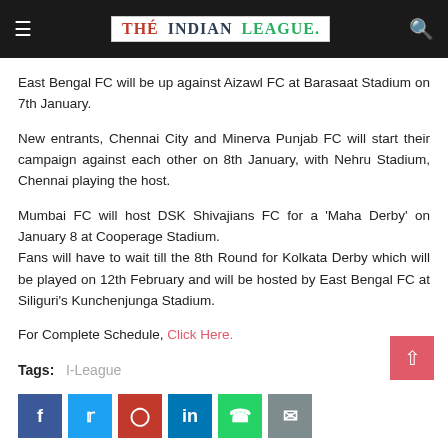THE INDIAN LEAGUE
East Bengal FC will be up against Aizawl FC at Barasaat Stadium on 7th January.
New entrants, Chennai City and Minerva Punjab FC will start their campaign against each other on 8th January, with Nehru Stadium, Chennai playing the host.
Mumbai FC will host DSK Shivajians FC for a 'Maha Derby' on January 8 at Cooperage Stadium.
Fans will have to wait till the 8th Round for Kolkata Derby which will be played on 12th February and will be hosted by East Bengal FC at Siliguri's Kunchenjunga Stadium.
For Complete Schedule, Click Here.
Tags:   I-League